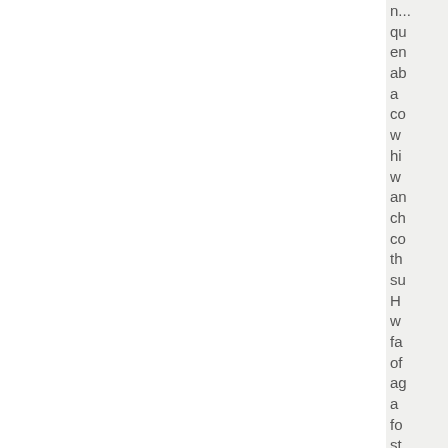n... q... e... a... a... co... w... hi... w... a... ch... co... th... su... H... w... fa... of... ag... a... fo... st... se... in... th...